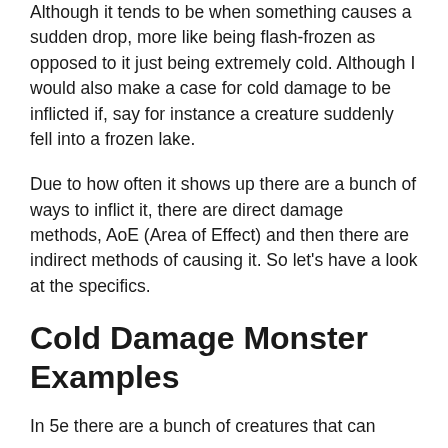Although it tends to be when something causes a sudden drop, more like being flash-frozen as opposed to it just being extremely cold. Although I would also make a case for cold damage to be inflicted if, say for instance a creature suddenly fell into a frozen lake.
Due to how often it shows up there are a bunch of ways to inflict it, there are direct damage methods, AoE (Area of Effect) and then there are indirect methods of causing it. So let's have a look at the specifics.
Cold Damage Monster Examples
In 5e there are a bunch of creatures that can